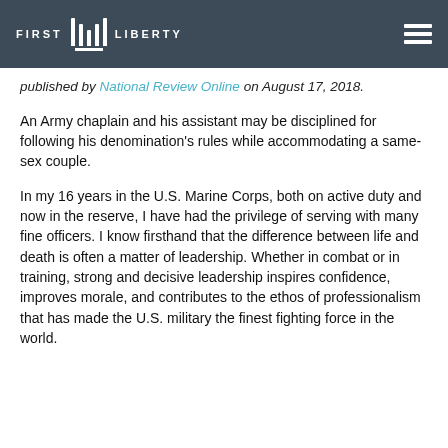FIRST LIBERTY
published by National Review Online on August 17, 2018.
An Army chaplain and his assistant may be disciplined for following his denomination’s rules while accommodating a same-sex couple.
In my 16 years in the U.S. Marine Corps, both on active duty and now in the reserve, I have had the privilege of serving with many fine officers. I know firsthand that the difference between life and death is often a matter of leadership. Whether in combat or in training, strong and decisive leadership inspires confidence, improves morale, and contributes to the ethos of professionalism that has made the U.S. military the finest fighting force in the world.